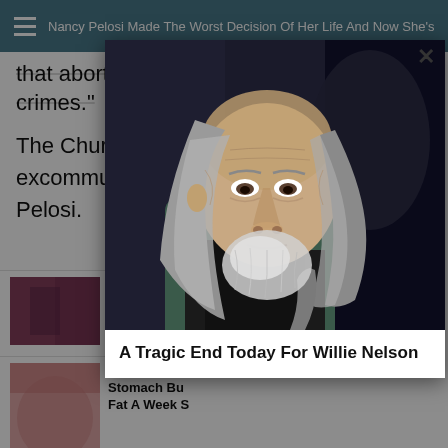Nancy Pelosi Made The Worst Decision Of Her Life And Now She's Banne...
that abortion represents "abominable crimes."
The Church even reserves the right to excommunicate pro-abortion zealots like Pelosi.
[Figure (screenshot): Ad widget showing partial card: Dems W... It's Tim... with thumbnail image]
[Figure (screenshot): Ad widget: A Teaspoon ... Stomach Bu... Fat A Week S... with fire count 11,450]
[Figure (photo): Photo of elderly man with long gray hair and beard, looking into distance - modal popup for Willie Nelson story]
A Tragic End Today For Willie Nelson